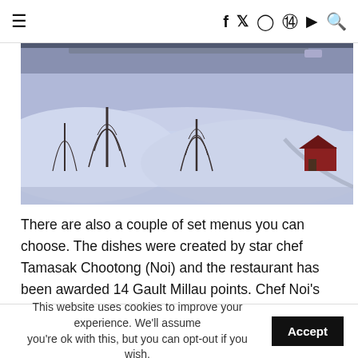≡  f  𝕏  ◻  ⊕  ▶  🔍
[Figure (photo): Aerial or elevated view of a snow-covered hillside landscape in winter, with bare trees, a winding road/path, and a red-roofed building visible in the distance.]
There are also a couple of set menus you can choose. The dishes were created by star chef Tamasak Chootong (Noi) and the restaurant has been awarded 14 Gault Millau points. Chef Noi's dishes are implemented at the 800m high restaurant at the Panorama Resort Feusiberg by Head Chef Pich
This website uses cookies to improve your experience. We'll assume you're ok with this, but you can opt-out if you wish.  Accept